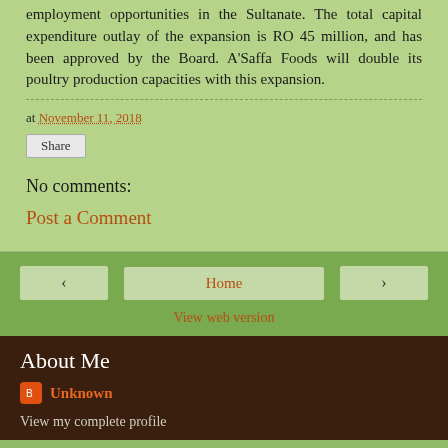employment opportunities in the Sultanate. The total capital expenditure outlay of the expansion is RO 45 million, and has been approved by the Board. A'Saffa Foods will double its poultry production capacities with this expansion.
at November 11, 2018
Share
No comments:
Post a Comment
‹
Home
›
View web version
About Me
Unknown
View my complete profile